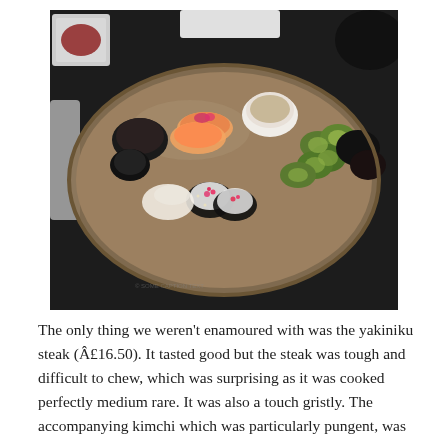[Figure (photo): A plate of assorted sushi and Japanese food on an oval ceramic plate on a dark table. Items include maki rolls with sesame seeds and pink roe, green avocado rolls, salmon nigiri topped with pink garnish, dark seaweed-wrapped pieces, a small white cup of dipping sauce, and pickled ginger. A small white square dish with red sauce is visible in the upper left corner.]
The only thing we weren't enamoured with was the yakiniku steak (Â£16.50). It tasted good but the steak was tough and difficult to chew, which was surprising as it was cooked perfectly medium rare. It was also a touch gristly. The accompanying kimchi which was particularly pungent, was